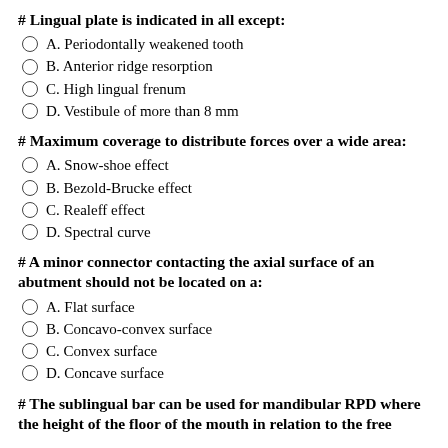# Lingual plate is indicated in all except:
A. Periodontally weakened tooth
B. Anterior ridge resorption
C. High lingual frenum
D. Vestibule of more than 8 mm
# Maximum coverage to distribute forces over a wide area:
A. Snow-shoe effect
B. Bezold-Brucke effect
C. Realeff effect
D. Spectral curve
# A minor connector contacting the axial surface of an abutment should not be located on a:
A. Flat surface
B. Concavo-convex surface
C. Convex surface
D. Concave surface
# The sublingual bar can be used for mandibular RPD where the height of the floor of the mouth in relation to the free